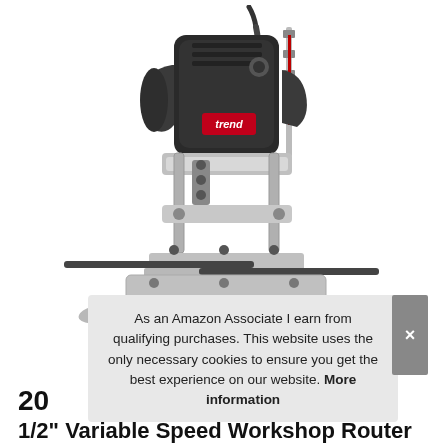[Figure (photo): A Trend brand variable speed workshop router (plunge router) with silver and black body, black handles, and attached parallel fence guide. The router is shown on a white background.]
As an Amazon Associate I earn from qualifying purchases. This website uses the only necessary cookies to ensure you get the best experience on our website. More information
20
1/2" Variable Speed Workshop Router